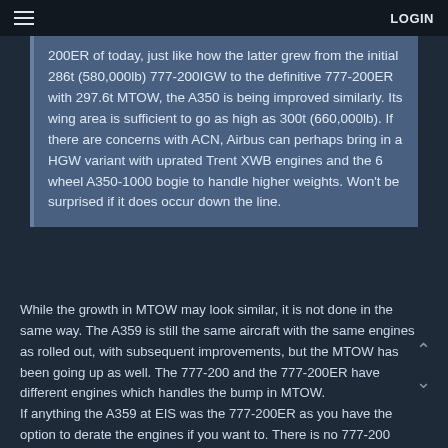≡  LOGIN
200ER of today, just like how the latter grew from the initial 286t (580,000lb) 777-200IGW to the definitive 777-200ER with 297.6t MTOW, the A350 is being improved similarly. Its wing area is sufficient to go as high as 300t (660,000lb). If there are concerns with ACN, Airbus can perhaps bring in a HGW variant with uprated Trent XWB engines and the 6 wheel A350-1000 bogie to handle higher weights. Won't be surprised if it does occur down the line.
While the growth in MTOW may look similar, it is not done in the same way. The A359 is still the same aircraft with the same engines as rolled out, with subsequent improvements, but the MTOW has been going up as well. The 777-200 and the 777-200ER have different engines which handles the bump in MTOW.
If anything the A359 at EIS was the 777-200ER as you have the option to derate the engines if you want to. There is no 777-200 equivalent for the A359. There is the derated A359 but that is still the same aircraft as the standard A359.
So while not surprising as other models has seen MTOW increases as